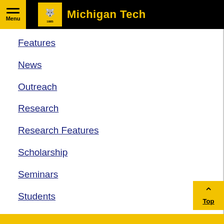Michigan Tech
Features
News
Outreach
Research
Research Features
Scholarship
Seminars
Students
Study Abroad
Uncategorized